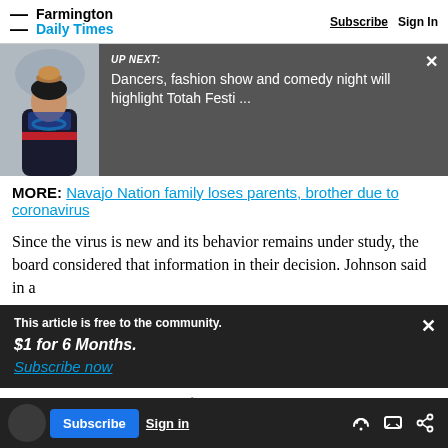Farmington Daily Times — Subscribe | Sign In
[Figure (photo): Woman in traditional Native American dress with turquoise necklace and pottery on head]
UP NEXT: Dancers, fashion show and comedy night will highlight Totah Festi ...
MORE: Navajo Nation family loses parents, brother due to coronavirus
Since the virus is new and its behavior remains under study, the board considered that information in their decision. Johnson said in a
This article is free to the community. $1 for 6 Months. Subscribe now
els issued by tribal, state and federal
safety of community members, he said.
Subscribe | Sign in | share icons